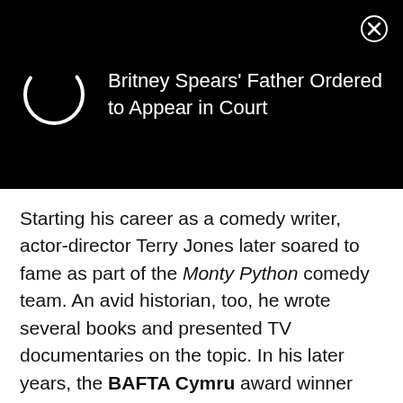[Figure (screenshot): Black notification bar with a loading spinner icon on the left and text 'Britney Spears' Father Ordered to Appear in Court' on the right, with an X close button in the top-right corner.]
Starting his career as a comedy writer, actor-director Terry Jones later soared to fame as part of the Monty Python comedy team. An avid historian, too, he wrote several books and presented TV documentaries on the topic. In his later years, the BAFTA Cymru award winner struggled with dementia.
Recommended Lists: Statisticians Theologians
Celebrities Born On My Birthday? Enter Your DOB GO